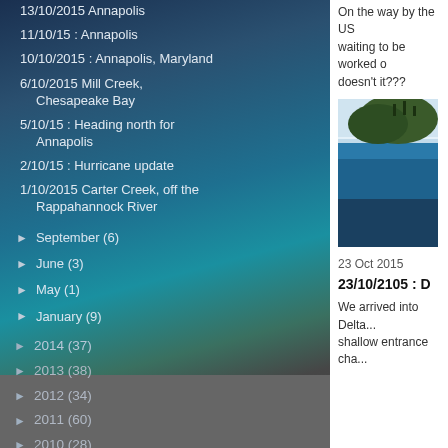13/10/2015 Annapolis
11/10/15 : Annapolis
10/10/2015 : Annapolis, Maryland
6/10/2015 Mill Creek, Chesapeake Bay
5/10/15 : Heading north for Annapolis
2/10/15 : Hurricane update
1/10/2015 Carter Creek, off the Rappahannock River
► September (6)
► June (3)
► May (1)
► January (9)
► 2014 (37)
► 2013 (38)
► 2012 (34)
► 2011 (60)
► 2010 (28)
On the way by the US... waiting to be worked o... doesn't it???
[Figure (photo): Partial view of a tropical island with blue ocean water]
23 Oct 2015
23/10/2105 : D...
We arrived into Delta... shallow entrance cha...